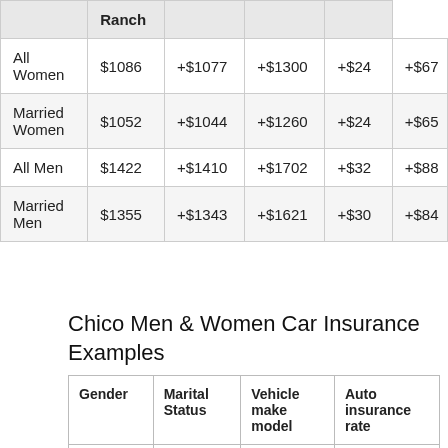|  | Ranch |  |  |  |
| --- | --- | --- | --- | --- |
| All Women | $1086 | +$1077 | +$1300 | +$24 | +$67 |
| Married Women | $1052 | +$1044 | +$1260 | +$24 | +$65 |
| All Men | $1422 | +$1410 | +$1702 | +$32 | +$88 |
| Married Men | $1355 | +$1343 | +$1621 | +$30 | +$84 |
Chico Men & Women Car Insurance Examples
| Gender | Marital Status | Vehicle make model | Auto insurance rate |
| --- | --- | --- | --- |
| Male | Married | 2011 | $1548 |